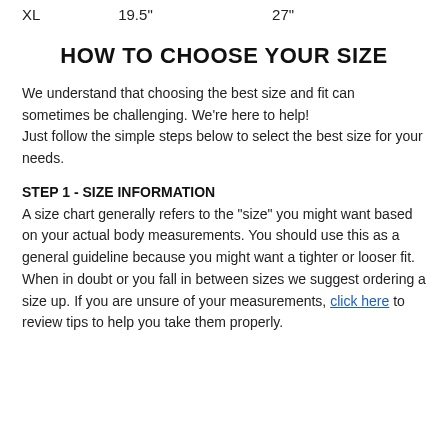| XL | 19.5" | 27" |
HOW TO CHOOSE YOUR SIZE
We understand that choosing the best size and fit can sometimes be challenging. We're here to help!
Just follow the simple steps below to select the best size for your needs.
STEP 1 - SIZE INFORMATION
A size chart generally refers to the "size" you might want based on your actual body measurements. You should use this as a general guideline because you might want a tighter or looser fit. When in doubt or you fall in between sizes we suggest ordering a size up. If you are unsure of your measurements, click here to review tips to help you take them properly.